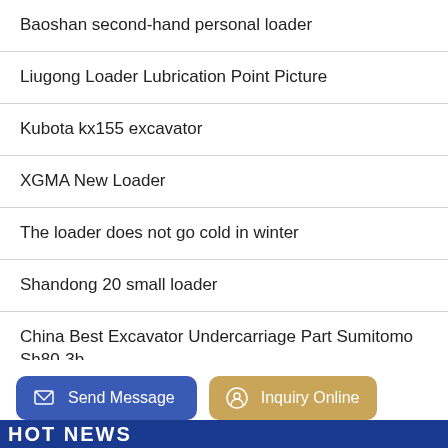Baoshan second-hand personal loader
Liugong Loader Lubrication Point Picture
Kubota kx155 excavator
XGMA New Loader
The loader does not go cold in winter
Shandong 20 small loader
China Best Excavator Undercarriage Part Sumitomo Sh80-3b
Loader Bucket Attachments Market Size Share and Growth by 2027
Send Message | Inquiry Online | HOT NEWS